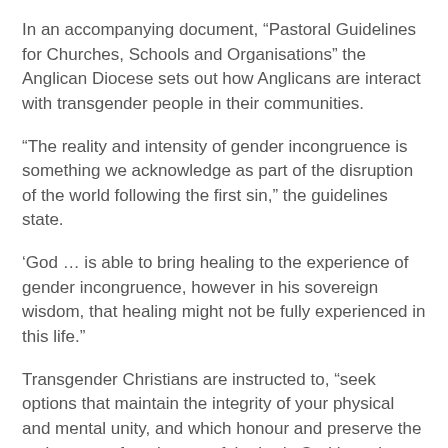In an accompanying document, “Pastoral Guidelines for Churches, Schools and Organisations” the Anglican Diocese sets out how Anglicans are interact with transgender people in their communities.
“The reality and intensity of gender incongruence is something we acknowledge as part of the disruption of the world following the first sin,” the guidelines state.
‘God … is able to bring healing to the experience of gender incongruence, however in his sovereign wisdom, that healing might not be fully experienced in this life.”
Transgender Christians are instructed to, “seek options that maintain the integrity of your physical and mental unity, and which honour and preserve the maleness or femaleness of the body God has given you.”